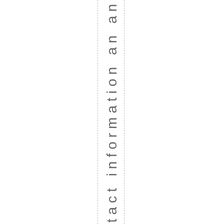nd more contact information an an